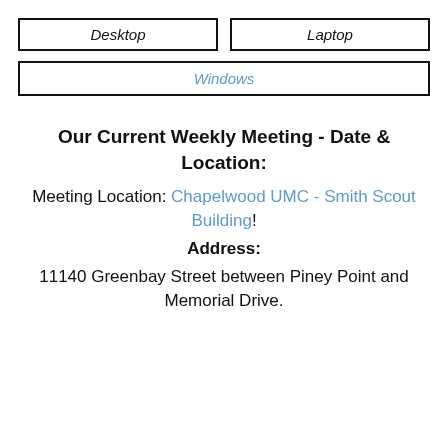| Desktop | Laptop |
| --- | --- |
| Windows |
| --- |
Our Current Weekly Meeting - Date & Location:
Meeting Location: Chapelwood UMC - Smith Scout Building!
Address:
11140 Greenbay Street between Piney Point and Memorial Drive.